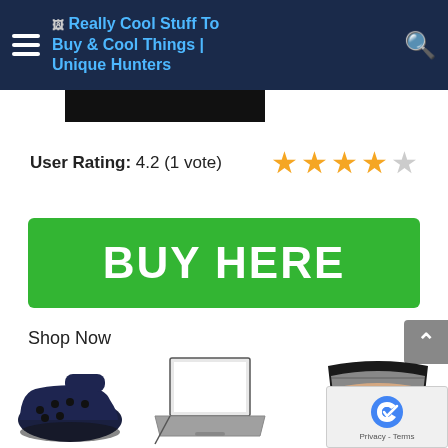Really Cool Stuff To Buy & Cool Things | Unique Hunters
[Figure (screenshot): Black redacted/blurred bar covering content]
User Rating: 4.2 (1 vote) ★★★★☆
[Figure (infographic): Green BUY HERE button]
Shop Now
[Figure (photo): Row of product images: dark blue Crocs clog shoe, laptop computer, women's underwear briefs multipack]
[Figure (other): reCAPTCHA widget overlay bottom right]